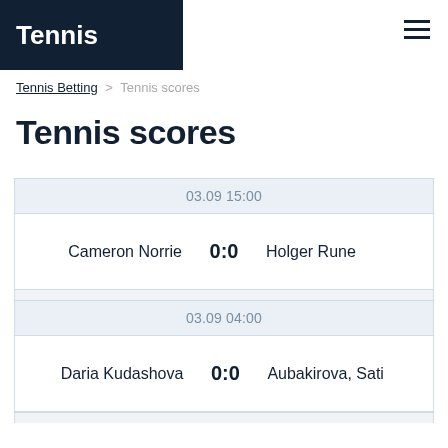Tennis
Tennis Betting > Tennis scores
Tennis scores
| Date/Time | Player 1 | Score | Player 2 |
| --- | --- | --- | --- |
| 03.09 15:00 | Cameron Norrie | 0:0 | Holger Rune |
| 03.09 04:00 | Daria Kudashova | 0:0 | Aubakirova, Sati |